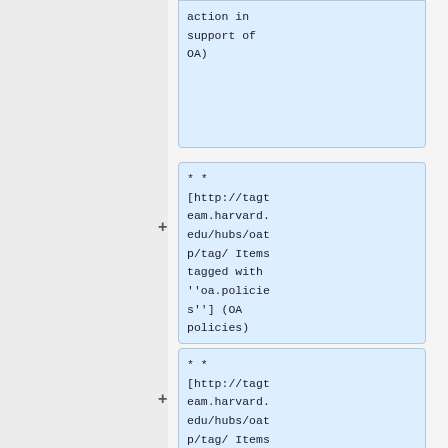action in support of OA)
** [http://tagteam.harvard.edu/hubs/oatp/tag/ Items tagged with ''oa.policies''] (OA policies)
** [http://tagteam.harvard.edu/hubs/oatp/tag/ Items tagged with ''oa.signatures''] (any declarations